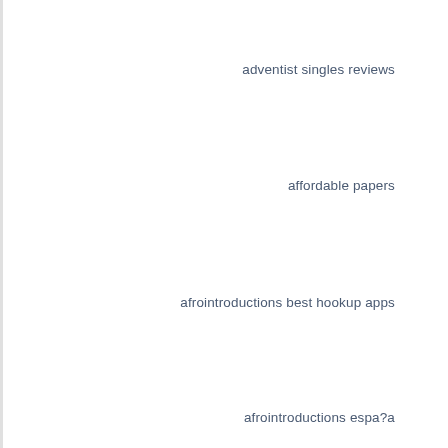adventist singles reviews
affordable papers
afrointroductions best hookup apps
afrointroductions espa?a
afrointroductions review
afrointroductions reviews
afrointroductions site de rencontre
afrointroductions visitors
afroromance hookup sites